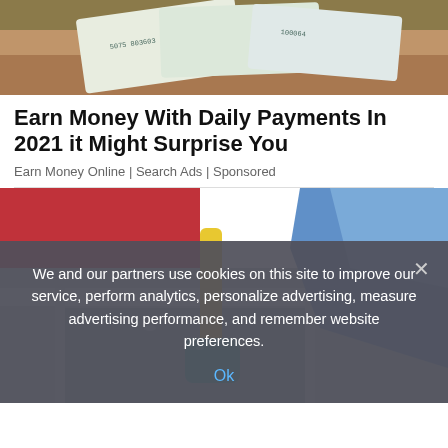[Figure (photo): Hand holding paper currency banknotes]
Earn Money With Daily Payments In 2021 it Might Surprise You
Earn Money Online | Search Ads | Sponsored
[Figure (photo): Cleaning a sink with a yellow scrub brush and blue cloth, teal handle visible]
We and our partners use cookies on this site to improve our service, perform analytics, personalize advertising, measure advertising performance, and remember website preferences.
Ok